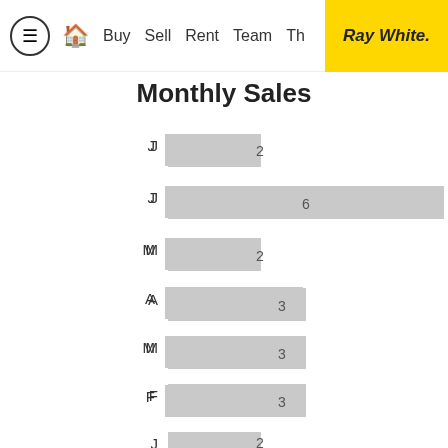≡ 🏠 Buy Sell Rent Team Th… Ray White.
Monthly Sales
[Figure (bar-chart): Monthly Sales]